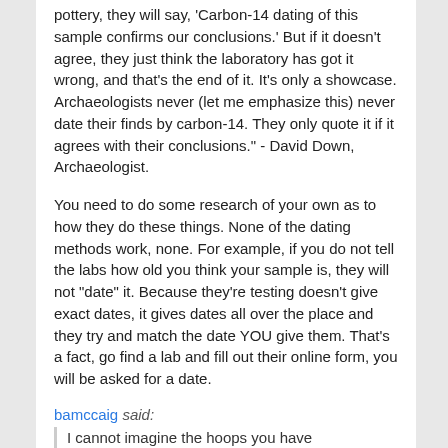pottery, they will say, 'Carbon-14 dating of this sample confirms our conclusions.' But if it doesn't agree, they just think the laboratory has got it wrong, and that's the end of it. It's only a showcase. Archaeologists never (let me emphasize this) never date their finds by carbon-14. They only quote it if it agrees with their conclusions." - David Down, Archaeologist.
You need to do some research of your own as to how they do these things. None of the dating methods work, none. For example, if you do not tell the labs how old you think your sample is, they will not "date" it. Because they're testing doesn't give exact dates, it gives dates all over the place and they try and match the date YOU give them. That's a fact, go find a lab and fill out their online form, you will be asked for a date.
bamccaig said: I cannot imagine the hoops you have